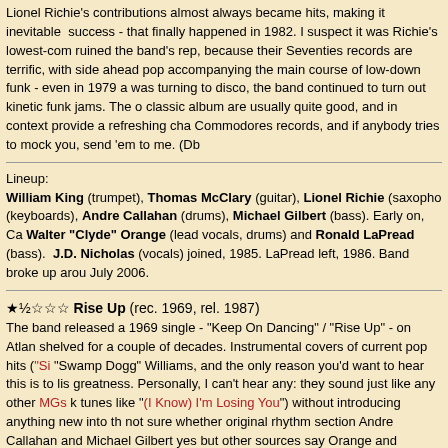Lionel Richie's contributions almost always became hits, making it inevitable success - that finally happened in 1982. I suspect it was Richie's lowest-com ruined the band's rep, because their Seventies records are terrific, with side ahead pop accompanying the main course of low-down funk - even in 1979 a was turning to disco, the band continued to turn out kinetic funk jams. The o classic album are usually quite good, and in context provide a refreshing cha Commodores records, and if anybody tries to mock you, send 'em to me. (Db
Lineup:
William King (trumpet), Thomas McClary (guitar), Lionel Richie (saxopho (keyboards), Andre Callahan (drums), Michael Gilbert (bass). Early on, Ca Walter "Clyde" Orange (lead vocals, drums) and Ronald LaPread (bass). J.D. Nicholas (vocals) joined, 1985. LaPread left, 1986. Band broke up arou July 2006.
★½☆☆☆ Rise Up (rec. 1969, rel. 1987)
The band released a 1969 single - "Keep On Dancing" / "Rise Up" - on Atlan shelved for a couple of decades. Instrumental covers of current pop hits ("Si "Swamp Dogg" Williams, and the only reason you'd want to hear this is to lis greatness. Personally, I can't hear any: they sound just like any other MGs k tunes like "(I Know) I'm Losing You") without introducing anything new into th not sure whether original rhythm section Andre Callahan and Michael Gilbert yes but other sources say Orange and LaPread were brought on board befo (DBW)
★★½☆☆ Machine Gun (1974)
The clavinet-led, Billy Preston-like title instrumental (not the Hendrix tune) w Anthony Carmichael and the band: the same combination that would produc Fire" is similarly enjoyable but not as memorable. The sledgehammer funk th only present on a couple of tracks ("Young Girls Are My Weakness": "The D